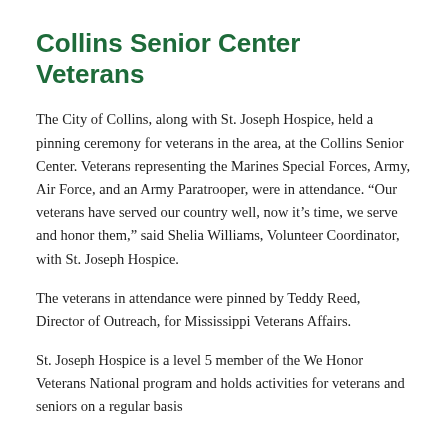Collins Senior Center Veterans
The City of Collins, along with St. Joseph Hospice, held a pinning ceremony for veterans in the area, at the Collins Senior Center. Veterans representing the Marines Special Forces, Army, Air Force, and an Army Paratrooper, were in attendance. “Our veterans have served our country well, now it’s time, we serve and honor them,” said Shelia Williams, Volunteer Coordinator, with St. Joseph Hospice.
The veterans in attendance were pinned by Teddy Reed, Director of Outreach, for Mississippi Veterans Affairs.
St. Joseph Hospice is a level 5 member of the We Honor Veterans National program and holds activities for veterans and seniors on a regular basis